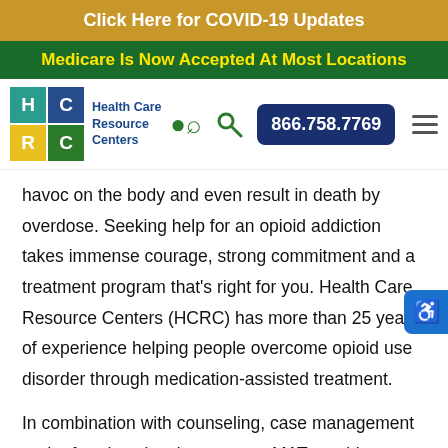Click Here for COVID-19 Updates
Medicare Is Now Accepted At Most Locations
[Figure (logo): Health Care Resource Centers logo with HCRC grid and text, search icon, phone number button 866.758.7769, and hamburger menu]
havoc on the body and even result in death by overdose. Seeking help for an opioid addiction takes immense courage, strong commitment and a treatment program that's right for you. Health Care Resource Centers (HCRC) has more than 25 years of experience helping people overcome opioid use disorder through medication-assisted treatment.
In combination with counseling, case management and referrals to local resources, MAT provides individuals with a strong foundation for recovery and sustained sobriety.